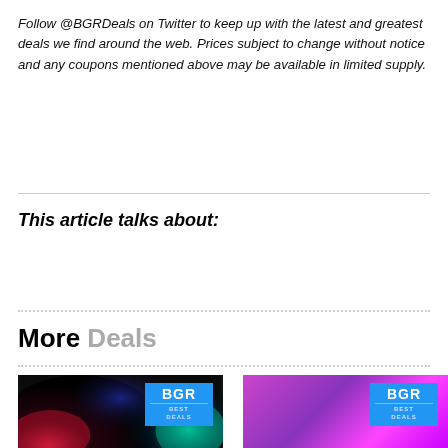Follow @BGRDeals on Twitter to keep up with the latest and greatest deals we find around the web. Prices subject to change without notice and any coupons mentioned above may be available in limited supply.
This article talks about:
BGR AMAZON DEALS
More Deals
[Figure (photo): BGR Best Deals image with colorful smoke on dark background]
[Figure (photo): BGR Best Deals image with pink/purple gradient background]